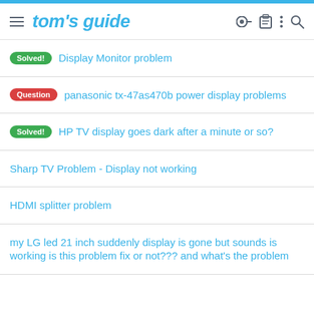tom's guide
Solved! Display Monitor problem
Question panasonic tx-47as470b power display problems
Solved! HP TV display goes dark after a minute or so?
Sharp TV Problem - Display not working
HDMI splitter problem
my LG led 21 inch suddenly display is gone but sounds is working is this problem fix or not??? and what's the problem